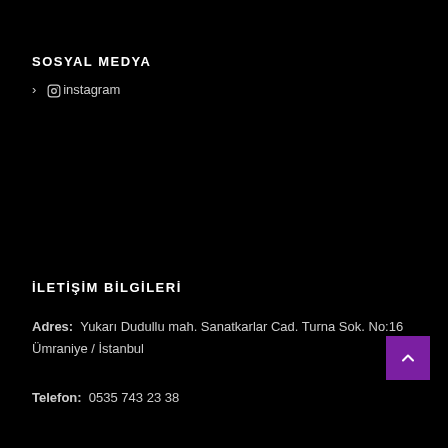SOSYAL MEDYA
> @instagram
İLETİŞİM BİLGİLERİ
Adres: Yukarı Dudullu mah. Sanatkarlar Cad. Turna Sok. No:16 Ümraniye / İstanbul
Telefon: 0535 743 23 38